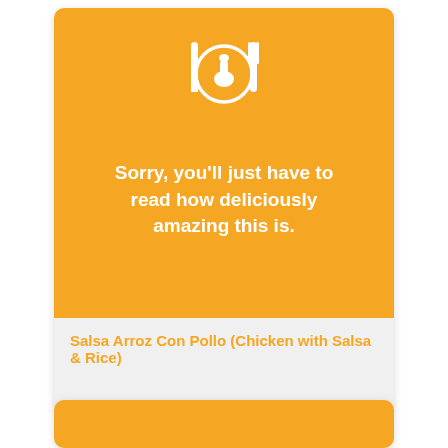[Figure (illustration): Orange card with white cutlery icon (knife, plate with chicken leg, fork) and placeholder text saying the image is unavailable]
Sorry, you'll just have to read how deliciously amazing this is.
Salsa Arroz Con Pollo (Chicken with Salsa & Rice)
[Figure (illustration): Second orange card, partially visible at bottom of page]